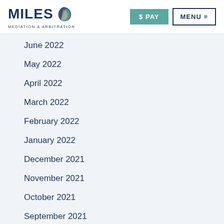MILES MEDIATION & ARBITRATION | $ PAY | MENU
June 2022
May 2022
April 2022
March 2022
February 2022
January 2022
December 2021
November 2021
October 2021
September 2021
August 2021
July 2021
June 2021